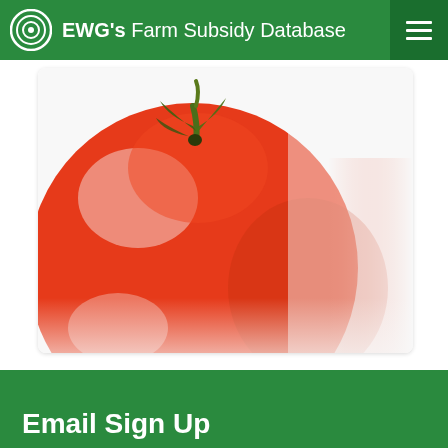EWG's Farm Subsidy Database
[Figure (photo): Close-up photo of a large red tomato with green stem on a white background]
Email Sign Up